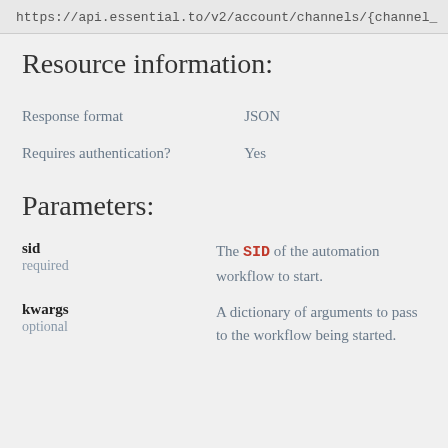https://api.essential.to/v2/account/channels/{channel_
Resource information:
|  |  |
| --- | --- |
| Response format | JSON |
| Requires authentication? | Yes |
Parameters:
sid
required
The SID of the automation workflow to start.
kwargs
optional
A dictionary of arguments to pass to the workflow being started.